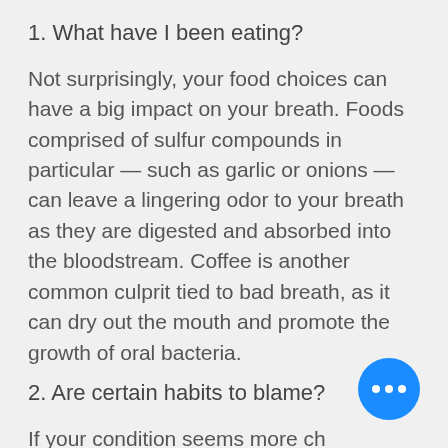1. What have I been eating?
Not surprisingly, your food choices can have a big impact on your breath. Foods comprised of sulfur compounds in particular — such as garlic or onions — can leave a lingering odor to your breath as they are digested and absorbed into the bloodstream. Coffee is another common culprit tied to bad breath, as it can dry out the mouth and promote the growth of oral bacteria.
2. Are certain habits to blame?
If your condition seems more ch in nature, and you've ruled out yo diet as a possibility, chances are nee